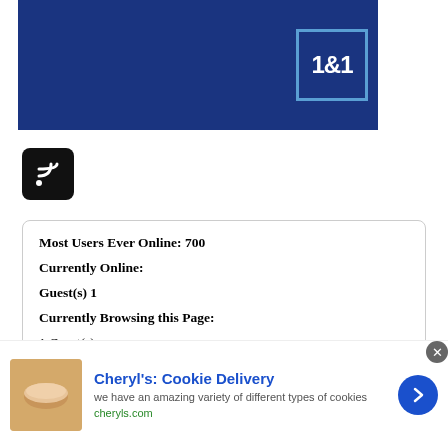[Figure (logo): 1&1 logo — white text '1&1' on dark navy blue background with blue border]
[Figure (logo): RSS feed icon — white wifi/signal symbol on black rounded square]
Most Users Ever Online: 700
Currently Online:
Guest(s) 1
Currently Browsing this Page:
1 Guest(s)
Devices in use: Phone (1)
© Simple:Press
[Figure (screenshot): Bottom advertisement banner: Cheryl's Cookie Delivery — we have an amazing variety of different types of cookies — cheryls.com]